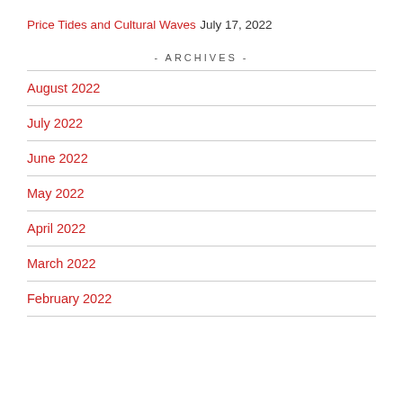Price Tides and Cultural Waves July 17, 2022
- ARCHIVES -
August 2022
July 2022
June 2022
May 2022
April 2022
March 2022
February 2022